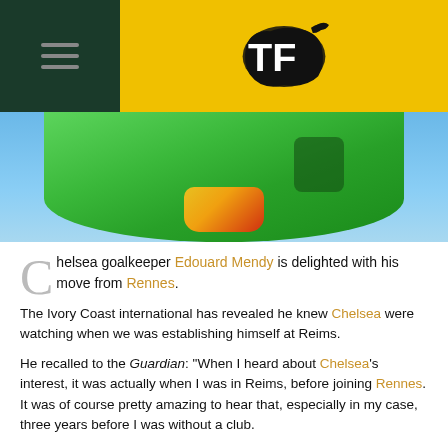TF (TransferFeed) logo and navigation header
[Figure (photo): A goalkeeper in green kit bending down, with blue background, Champion League logo visible]
Chelsea goalkeeper Edouard Mendy is delighted with his move from Rennes.
The Ivory Coast international has revealed he knew Chelsea were watching when we was establishing himself at Reims.
He recalled to the Guardian: "When I heard about Chelsea's interest, it was actually when I was in Reims, before joining Rennes. It was of course pretty amazing to hear that, especially in my case, three years before I was without a club.
"When you hear about something like that, you have to leave it to one side because it can be distracting. But it worked for the best, I played my season in France and it went really well and when the offer was officially made I did everything I could to join Chelsea